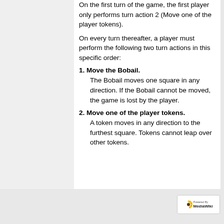On the first turn of the game, the first player only performs turn action 2 (Move one of the player tokens).
On every turn thereafter, a player must perform the following two turn actions in this specific order:
1. Move the Bobail.
The Bobail moves one square in any direction. If the Bobail cannot be moved, the game is lost by the player.
2. Move one of the player tokens.
A token moves in any direction to the furthest square. Tokens cannot leap over other tokens.
[Figure (logo): Powered by MediaWiki badge with sunflower logo]